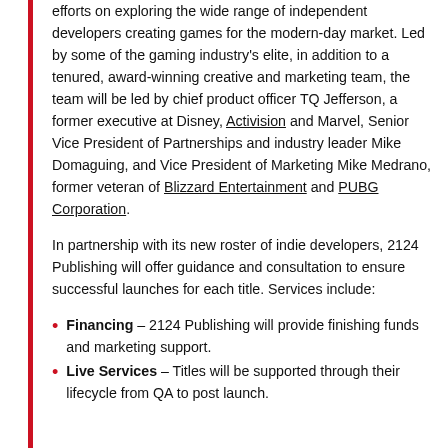efforts on exploring the wide range of independent developers creating games for the modern-day market. Led by some of the gaming industry's elite, in addition to a tenured, award-winning creative and marketing team, the team will be led by chief product officer TQ Jefferson, a former executive at Disney, Activision and Marvel, Senior Vice President of Partnerships and industry leader Mike Domaguing, and Vice President of Marketing Mike Medrano, former veteran of Blizzard Entertainment and PUBG Corporation.
In partnership with its new roster of indie developers, 2124 Publishing will offer guidance and consultation to ensure successful launches for each title. Services include:
Financing – 2124 Publishing will provide finishing funds and marketing support.
Live Services – Titles will be supported through their lifecycle from QA to post launch.